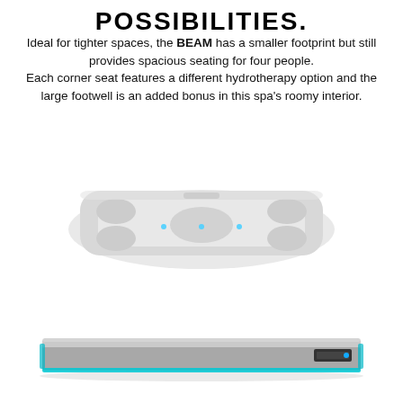POSSIBILITIES.
Ideal for tighter spaces, the BEAM has a smaller footprint but still provides spacious seating for four people. Each corner seat features a different hydrotherapy option and the large footwell is an added bonus in this spa's roomy interior.
[Figure (photo): Top-down view of a hot tub/spa with light gray shell, seating areas, LED blue accent lights, and metallic handles]
[Figure (photo): Side/profile view of the same spa unit with teal/cyan accent lighting along the base edge and a small control panel on the right side]